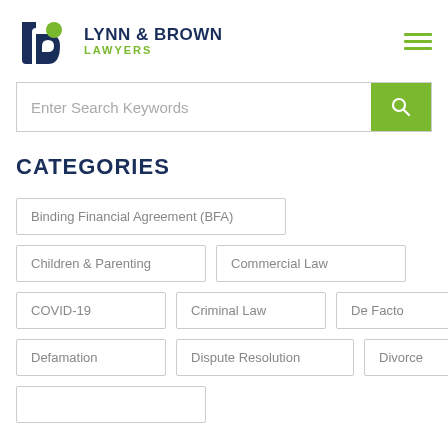[Figure (logo): Lynn & Brown Lawyers logo with stylized 'lb' monogram in dark navy and lime green, beside firm name text]
Enter Search Keywords
CATEGORIES
Binding Financial Agreement (BFA)
Children & Parenting
Commercial Law
COVID-19
Criminal Law
De Facto
Defamation
Dispute Resolution
Divorce